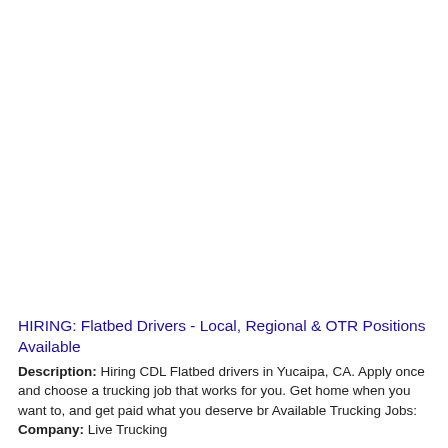HIRING: Flatbed Drivers - Local, Regional & OTR Positions Available
Description: Hiring CDL Flatbed drivers in Yucaipa, CA. Apply once and choose a trucking job that works for you. Get home when you want to, and get paid what you deserve br Available Trucking Jobs: Company: Live Trucking